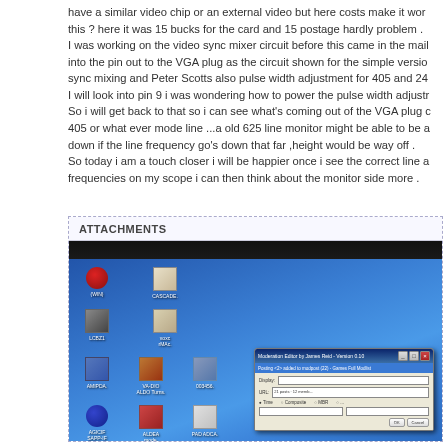have a similar video chip or an external video but here costs make it wor... this ? here it was 15 bucks for the card and 15 postage hardly problem . I was working on the video sync mixer circuit before this came in the mail into the pin out to the VGA plug as the circuit shown for the simple versio... sync mixing and Peter Scotts also pulse width adjustment for 405 and 24... I will look into pin 9 i was wondering how to power the pulse width adjustr... So i will get back to that so i can see what's coming out of the VGA plug c... 405 or what ever mode line ...a old 625 line monitor might be able to be a... down if the line frequency go's down that far ,height would be way off . So today i am a touch closer i will be happier once i see the correct line a... frequencies on my scope i can then think about the monitor side more .
ATTACHMENTS
[Figure (photo): Photo of a computer monitor/screen displaying a Windows XP desktop with blue gradient background, desktop icons on the left side, and a dialog box (appears to be Moderation Editor or similar XP-era dialog) open in the lower right area of the screen.]